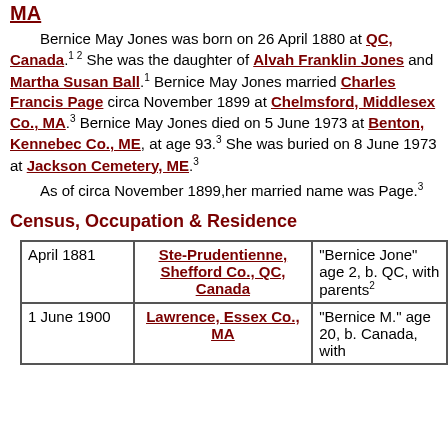MA
Bernice May Jones was born on 26 April 1880 at QC, Canada. 1 2 She was the daughter of Alvah Franklin Jones and Martha Susan Ball. 1 Bernice May Jones married Charles Francis Page circa November 1899 at Chelmsford, Middlesex Co., MA. 3 Bernice May Jones died on 5 June 1973 at Benton, Kennebec Co., ME, at age 93. 3 She was buried on 8 June 1973 at Jackson Cemetery, ME. 3
As of circa November 1899, her married name was Page. 3
Census, Occupation & Residence
| Date | Location | Description |
| --- | --- | --- |
| April 1881 | Ste-Prudentienne, Shefford Co., QC, Canada | "Bernice Jone" age 2, b. QC, with parents 2 |
| 1 June 1900 | Lawrence, Essex Co., MA | "Bernice M." age 20, b. Canada, with |